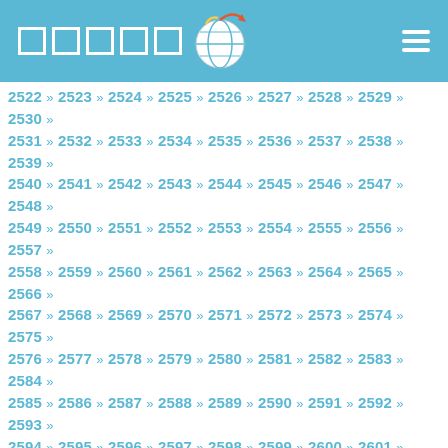Navigation header with logo and menu icon
2522 » 2523 » 2524 » 2525 » 2526 » 2527 » 2528 » 2529 » 2530 » 2531 » 2532 » 2533 » 2534 » 2535 » 2536 » 2537 » 2538 » 2539 » 2540 » 2541 » 2542 » 2543 » 2544 » 2545 » 2546 » 2547 » 2548 » 2549 » 2550 » 2551 » 2552 » 2553 » 2554 » 2555 » 2556 » 2557 » 2558 » 2559 » 2560 » 2561 » 2562 » 2563 » 2564 » 2565 » 2566 » 2567 » 2568 » 2569 » 2570 » 2571 » 2572 » 2573 » 2574 » 2575 » 2576 » 2577 » 2578 » 2579 » 2580 » 2581 » 2582 » 2583 » 2584 » 2585 » 2586 » 2587 » 2588 » 2589 » 2590 » 2591 » 2592 » 2593 » 2594 » 2595 » 2596 » 2597 » 2598 » 2599 » 2600 » 2601 » 2602 » 2603 » 2604 » 2605 » 2606 » 2607 » 2608 » 2609 » 2610 » 2611 » 2612 » 2613 » 2614 » 2615 » 2616 » 2617 » 2618 » 2619 » 2620 » 2621 » 2622 » 2623 » 2624 » 2625 » 2626 » 2627 » 2628 » 2629 » 2630 » 2631 » 2632 » 2633 » 2634 » 2635 » 2636 » 2637 » 2638 » 2639 » 2640 » 2641 » 2642 » 2643 » 2644 » 2645 » 2646 » 2647 » 2648 » 2649 » 2650 » 2651 » 2652 » 2653 » 2654 » 2655 » 2656 » 2657 » 2658 » 2659 » 2660 » 2661 » 2662 » 2663 » 2664 » 2665 » 2666 » 2667 » 2668 » 2669 » 2670 » 2671 » 2672 » 2673 » 2674 » 2675 » 2676 » 2677 » 2678 » 2679 » 2680 » 2681 » 2682 » 2683 » 2684 » 2685 » 2686 » 2687 » 2688 » 2689 » 2690 » 2691 » 2692 » 2693 » 2694 » 2695 » 2696 » 2697 » 2698 » 2699 » 2700 » 2701 » 2702 » 2703 » 2704 » 2705 » 2706 » 2707 » 2708 » 2709 » 2710 »